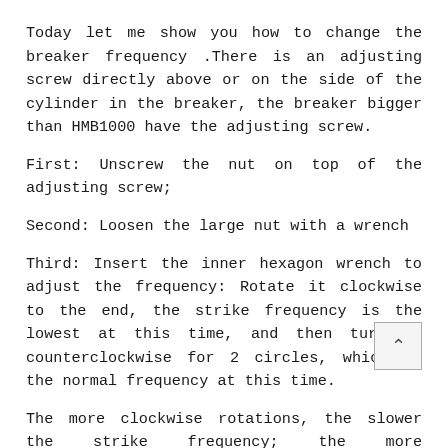Today let me show you how to change the breaker frequency .There is an adjusting screw directly above or on the side of the cylinder in the breaker, the breaker bigger than HMB1000 have the adjusting screw.
First: Unscrew the nut on top of the adjusting screw;
Second: Loosen the large nut with a wrench
Third: Insert the inner hexagon wrench to adjust the frequency: Rotate it clockwise to the end, the strike frequency is the lowest at this time, and then turn it counterclockwise for 2 circles, which is the normal frequency at this time.
The more clockwise rotations, the slower the strike frequency; the more counterclockwise rotations, the faster the strike frequency.
Forth: After the adjustment is completed, follow the